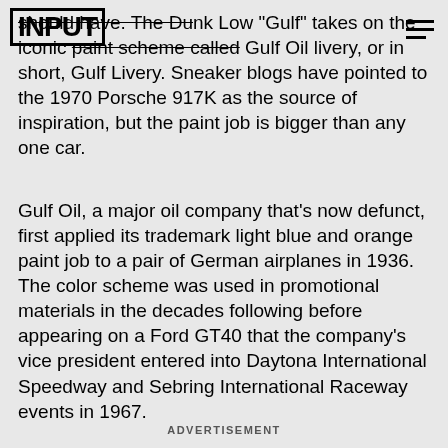INPUT
should have. The Dunk Low "Gulf" takes on the iconic paint scheme called Gulf Oil livery, or in short, Gulf Livery. Sneaker blogs have pointed to the 1970 Porsche 917K as the source of inspiration, but the paint job is bigger than any one car.
Gulf Oil, a major oil company that's now defunct, first applied its trademark light blue and orange paint job to a pair of German airplanes in 1936. The color scheme was used in promotional materials in the decades following before appearing on a Ford GT40 that the company's vice president entered into Daytona International Speedway and Sebring International Raceway events in 1967.
ADVERTISEMENT